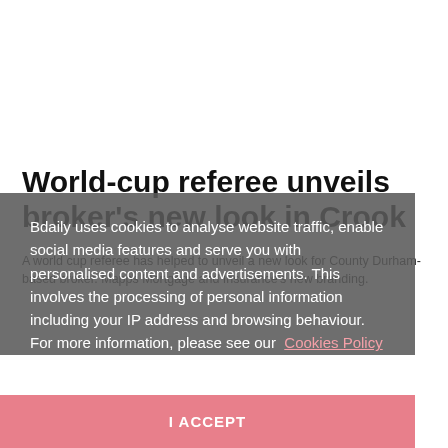World-cup referee unveils broker's new look in Crook
A world cup referee has helped to unveil a new look for County Durham-based broker. Mapps Mortgage and Insurance's new branding.
Bdaily uses cookies to analyse website traffic, enable social media features and serve you with personalised content and advertisements. This involves the processing of personal information including your IP address and browsing behaviour. For more information, please see our Cookies Policy
I ACCEPT